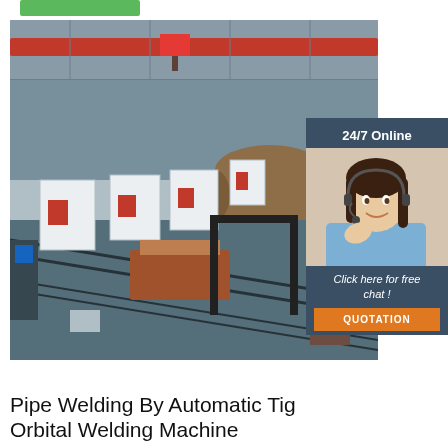[Figure (photo): Green button/bar at top of page]
[Figure (photo): Interior of a large industrial factory showing pipe welding machines and equipment on tracks, with red overhead crane beam visible at top. Various white and red machines are arranged in rows.]
[Figure (photo): 24/7 Online chat widget showing a female customer service agent wearing a headset, with 'Click here for free chat!' text and an orange QUOTATION button below.]
Pipe Welding By Automatic Tig Orbital Welding Machine